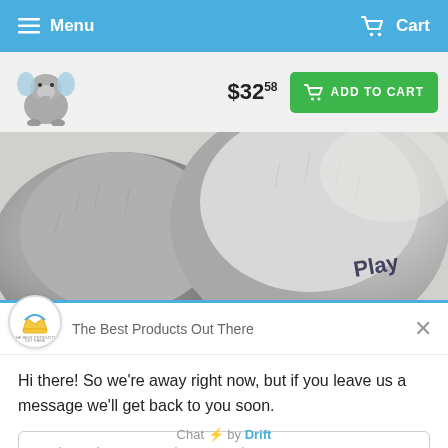Menu  Cart
$32.58  ADD TO CART
[Figure (photo): Close-up photo of a grey plush elephant stuffed animal with 'PLAY' text visible on its foot]
The Best Products Out There
Hi there! So we're away right now, but if you leave us a message we'll get back to you soon.
Reply to The Best Products Out There
Chat ⚡ by Drift